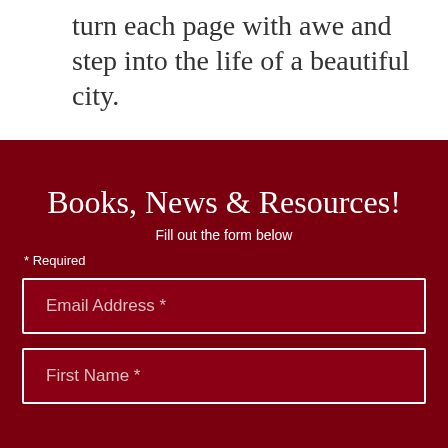turn each page with awe and step into the life of a beautiful city.
Books, News & Resources!
Fill out the form below
* Required
Email Address *
First Name *